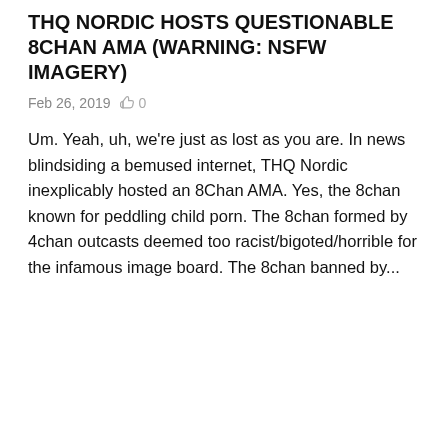THQ NORDIC HOSTS QUESTIONABLE 8CHAN AMA (WARNING: NSFW IMAGERY)
Feb 26, 2019  👍 0
Um. Yeah, uh, we're just as lost as you are. In news blindsiding a bemused internet, THQ Nordic inexplicably hosted an 8Chan AMA. Yes, the 8chan known for peddling child porn. The 8chan formed by 4chan outcasts deemed too racist/bigoted/horrible for the infamous image board. The 8chan banned by...